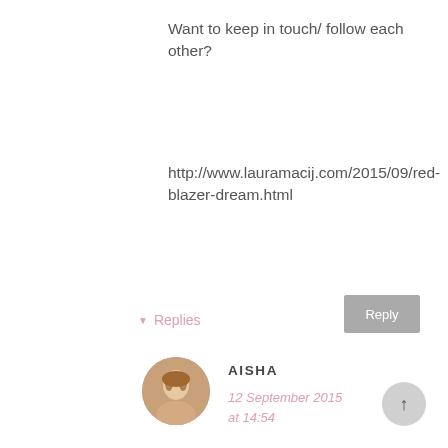Want to keep in touch/ follow each other?
http://www.lauramacij.com/2015/09/red-blazer-dream.html
▾ Replies
[Figure (photo): Circular avatar photo of a person with light hair]
AISHA
12 September 2015 at 14:54
Thanks! xo